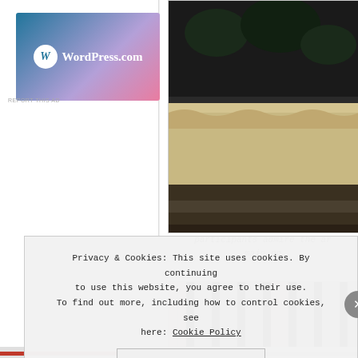[Figure (screenshot): WordPress.com advertisement banner with gradient background (blue to pink) showing the WordPress logo and 'WordPress.com' text]
[Figure (photo): Photo of decorative architectural element or planter with ornate carved stone molding, plants visible in background, dark/moody lighting]
participants admire the ar main po
[Figure (photo): Close-up photo of vertical striped fabric or curtain material, alternating light and dark stripes]
Privacy & Cookies: This site uses cookies. By continuing to use this website, you agree to their use. To find out more, including how to control cookies, see here: Cookie Policy
Close and accept